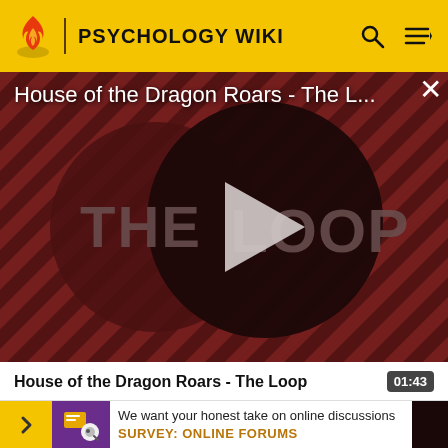PSYCHOLOGY WIKI
House of the Dragon Roars - The L...
[Figure (screenshot): Video thumbnail for 'House of the Dragon Roars - The Loop' showing a dark red striped background with a large dark circle containing a play button triangle, and text reading 'THE LOOP']
House of the Dragon Roars - The Loop
01:43
We want your honest take on online discussions
SURVEY: ONLINE FORUMS